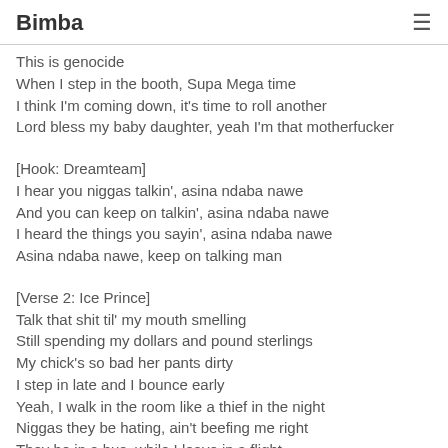Bimba
This is genocide
When I step in the booth, Supa Mega time
I think I'm coming down, it's time to roll another
Lord bless my baby daughter, yeah I'm that motherfucker
[Hook: Dreamteam]
I hear you niggas talkin', asina ndaba nawe
And you can keep on talkin', asina ndaba nawe
I heard the things you sayin', asina ndaba nawe
Asina ndaba nawe, keep on talking man
[Verse 2: Ice Prince]
Talk that shit til' my mouth smelling
Still spending my dollars and pound sterlings
My chick's so bad her pants dirty
I step in late and I bounce early
Yeah, I walk in the room like a thief in the night
Niggas they be hating, ain't beefing me right
They be in a bus, while I leave in a flight